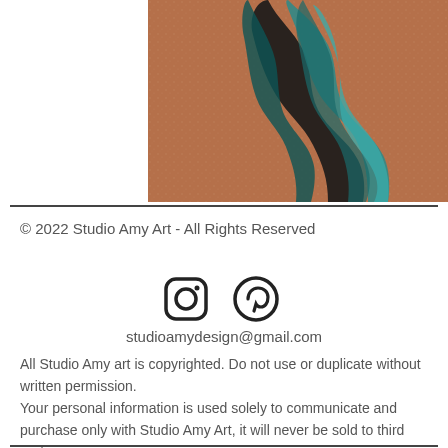[Figure (illustration): Partial view of an artwork showing a stylized horse with teal/black flowing mane on a terracotta/copper background with glitter texture]
© 2022 Studio Amy Art - All Rights Reserved
[Figure (other): Instagram and Pinterest social media icons]
studioamydesign@gmail.com
All Studio Amy art is copyrighted. Do not use or duplicate without written permission.
Your personal information is used solely to communicate and purchase only with Studio Amy Art, it will never be sold to third party companies.